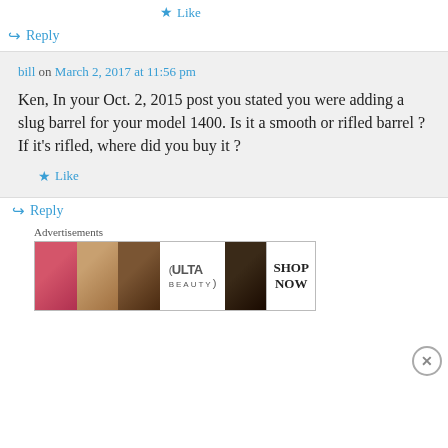Like
Reply
bill on March 2, 2017 at 11:56 pm
Ken, In your Oct. 2, 2015 post you stated you were adding a slug barrel for your model 1400. Is it a smooth or rifled barrel ? If it's rifled, where did you buy it ?
Like
Reply
Advertisements